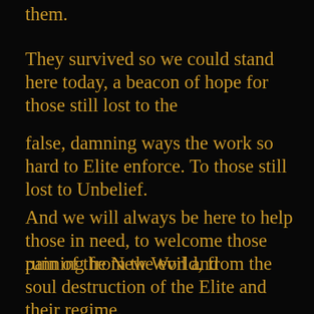them.
They survived so we could stand here today, a beacon of hope for those still lost to the
false, damning ways the work so hard to Elite enforce. To those still lost to Unbelief.
And we will always be here to help those in need, to welcome those running from the evil and
pain of the New World, from the soul destruction of the Elite and their regime.